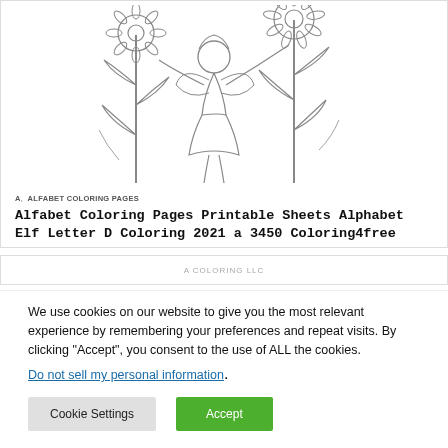[Figure (illustration): Line drawing illustration of a fairy/elf figure among large daisy/sunflower plants with detailed leaves and flower heads]
A, ALFABET COLORING PAGES
Alfabet Coloring Pages Printable Sheets Alphabet Elf Letter D Coloring 2021 a 3450 Coloring4free
A COLORING LLC
We use cookies on our website to give you the most relevant experience by remembering your preferences and repeat visits. By clicking “Accept”, you consent to the use of ALL the cookies.
Do not sell my personal information.
Cookie Settings
Accept